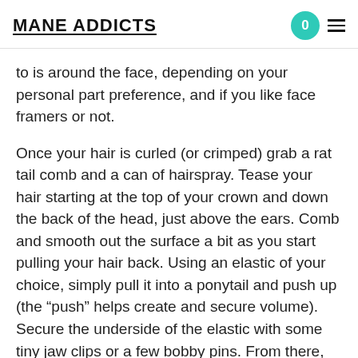MANE ADDICTS
to is around the face, depending on your personal part preference, and if you like face framers or not.
Once your hair is curled (or crimped) grab a rat tail comb and a can of hairspray. Tease your hair starting at the top of your crown and down the back of the head, just above the ears. Comb and smooth out the surface a bit as you start pulling your hair back. Using an elastic of your choice, simply pull it into a ponytail and push up (the “push” helps create and secure volume). Secure the underside of the elastic with some tiny jaw clips or a few bobby pins. From there, simply wrap a piece of your pony around the elastic and secure it with another pin. Tease the ponytail a bit from underneath and blast